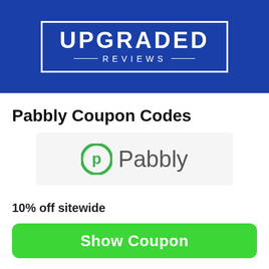[Figure (logo): Upgraded Reviews logo: white text 'UPGRADED' and 'REVIEWS' inside a white border rectangle on a blue background]
Pabbly Coupon Codes
[Figure (logo): Pabbly logo: green circular icon with letter P and the word 'Pabbly' in gray text]
10% off sitewide
Show Coupon